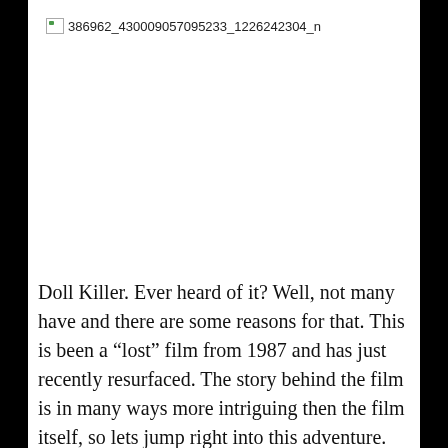[Figure (photo): Broken image placeholder with filename label: 386962_430009057095233_1226242304_n]
Doll Killer. Ever heard of it? Well, not many have and there are some reasons for that. This is been a “lost” film from 1987 and has just recently resurfaced. The story behind the film is in many ways more intriguing then the film itself, so lets jump right into this adventure.